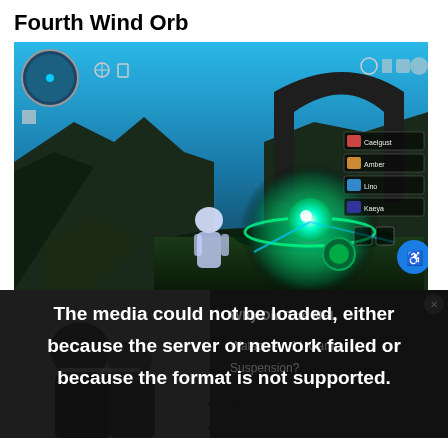Fourth Wind Orb
[Figure (screenshot): Game screenshot showing a character standing near a glowing green Wind Orb with a rock arch in the background. HUD elements visible including minimap, party panel with characters (Caelgust, Amber, Lino, Kaeya), and accessibility button.]
[Figure (screenshot): Video player error overlay reading: 'The media could not be loaded, either because the server or network failed or because the format is not supported.' with a large X close button. Partially visible ad text reads 'Why Did The NFL Watson An 11-Game Suspension?' on the right side.]
be on your right, atop the [pillar]. Climb the pillar to find it.